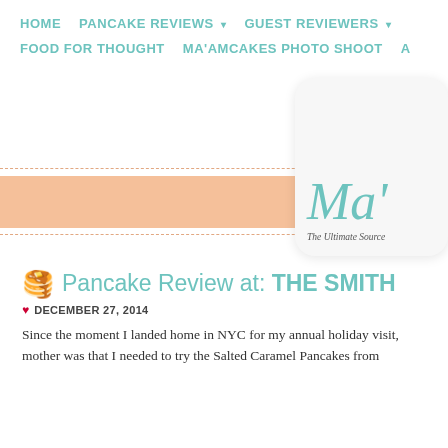HOME   PANCAKE REVIEWS ▾   GUEST REVIEWERS ▾   FOOD FOR THOUGHT   MA'AMCAKES PHOTO SHOOT   A
[Figure (illustration): Peach/salmon colored ribbon banner on the left side and a rounded-rectangle logo card on the right showing cursive 'Ma'' text in teal and italic tagline 'The Ultimate Source']
🥞 Pancake Review at: THE SMITH
DECEMBER 27, 2014
Since the moment I landed home in NYC for my annual holiday visit, mother was that I needed to try the Salted Caramel Pancakes from